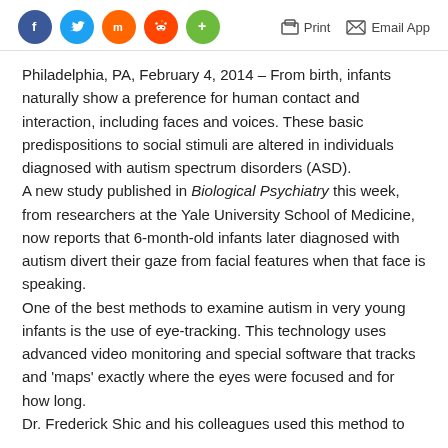Social share icons and Print / Email App actions
Philadelphia, PA, February 4, 2014 – From birth, infants naturally show a preference for human contact and interaction, including faces and voices. These basic predispositions to social stimuli are altered in individuals diagnosed with autism spectrum disorders (ASD).
A new study published in Biological Psychiatry this week, from researchers at the Yale University School of Medicine, now reports that 6-month-old infants later diagnosed with autism divert their gaze from facial features when that face is speaking.
One of the best methods to examine autism in very young infants is the use of eye-tracking. This technology uses advanced video monitoring and special software that tracks and 'maps' exactly where the eyes were focused and for how long.
Dr. Frederick Shic and his colleagues used this method to